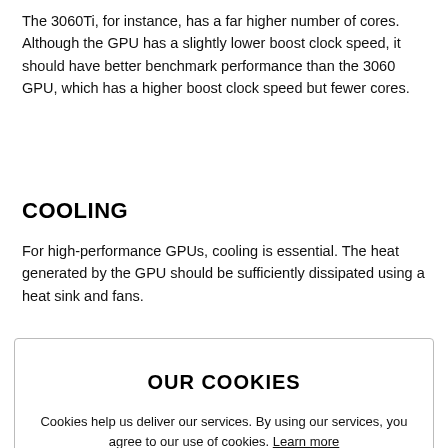The 3060Ti, for instance, has a far higher number of cores. Although the GPU has a slightly lower boost clock speed, it should have better benchmark performance than the 3060 GPU, which has a higher boost clock speed but fewer cores.
COOLING
For high-performance GPUs, cooling is essential. The heat generated by the GPU should be sufficiently dissipated using a heat sink and fans.
[Figure (screenshot): Cookie consent overlay with title 'OUR COOKIES', descriptive text, Learn more link, and two buttons: SETTINGS (black) and AGREE (orange).]
also its longevity.